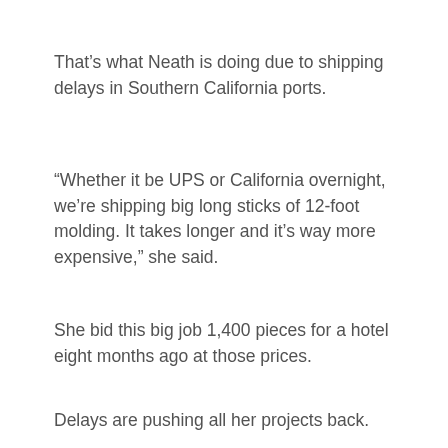That’s what Neath is doing due to shipping delays in Southern California ports.
“Whether it be UPS or California overnight, we’re shipping big long sticks of 12-foot molding. It takes longer and it’s way more expensive,” she said.
She bid this big job 1,400 pieces for a hotel eight months ago at those prices.
“All prices — shipping and all that — is adding 20 percent. So, now I’m making a real minimal profit on it and struggling to get the job done on time,” she said.
READ MORE: One Pedestrian Killed In Sacramento In Ambulance Collision
Delays are pushing all her projects back.